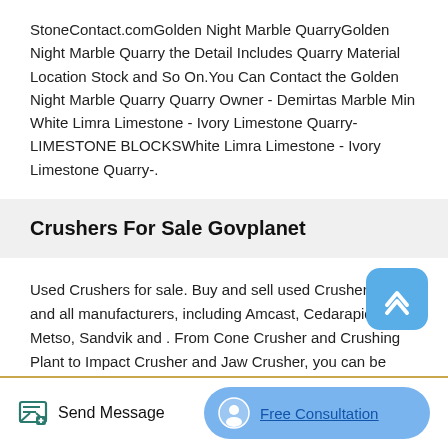StoneContact.comGolden Night Marble QuarryGolden Night Marble Quarry the Detail Includes Quarry Material Location Stock and So On.You Can Contact the Golden Night Marble Quarry Quarry Owner - Demirtas Marble Min White Limra Limestone - Ivory Limestone Quarry- LIMESTONE BLOCKSWhite Limra Limestone - Ivory Limestone Quarry-.
Crushers For Sale Govplanet
Used Crushers for sale. Buy and sell used Crushers from and all manufacturers, including Amcast, Cedarapids, Metso, Sandvik and . From Cone Crusher and Crushing Plant to Impact Crusher and Jaw Crusher, you can be sure to find exactly what you need. If you are looking for a used Crushers, be sure to check out our upcoming equipment auctions.
Send Message   Free Consultation